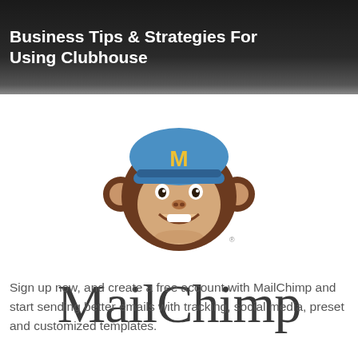Business Tips & Strategies For Using Clubhouse
[Figure (logo): MailChimp logo: cartoon monkey mascot wearing a blue cap with gold M, with the stylized script text 'MailChimp' below]
Sign up now, and create a free account with MailChimp and start sending better emails with tracking, social media, preset and customized templates.